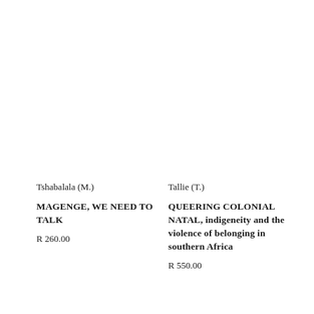Tshabalala (M.)
MAGENGE, WE NEED TO TALK
R 260.00
Tallie (T.)
QUEERING COLONIAL NATAL, indigeneity and the violence of belonging in southern Africa
R 550.00